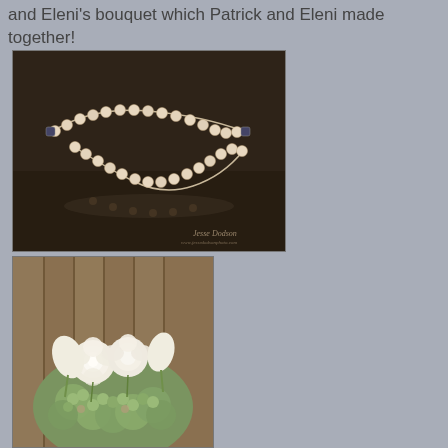and Eleni's bouquet which Patrick and Eleni made together!
[Figure (photo): Photo of a pearl necklace laid out on a dark brown surface, with a photographer watermark reading 'Jesse Dodson']
[Figure (photo): Photo of a wedding bouquet featuring white roses, white calla lilies, and green hydrangeas, photographed against a wooden background]